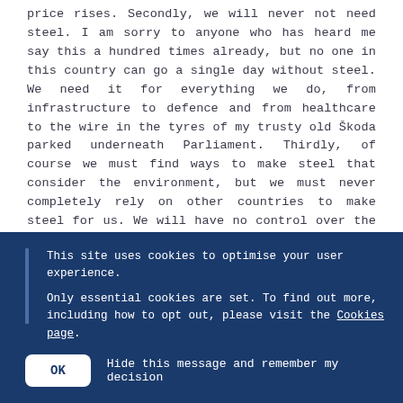price rises. Secondly, we will never not need steel. I am sorry to anyone who has heard me say this a hundred times already, but no one in this country can go a single day without steel. We need it for everything we do, from infrastructure to defence and from healthcare to the wire in the tyres of my trusty old Škoda parked underneath Parliament. Thirdly, of course we must find ways to make steel that consider the environment, but we must never completely rely on other countries to make steel for us. We will have no control over the quality or the environmental issues that come with that, and it would be foolish and immoral to ship steel from other countries.
This site uses cookies to optimise your user experience.
Only essential cookies are set. To find out more, including how to opt out, please visit the Cookies page.
OK   Hide this message and remember my decision